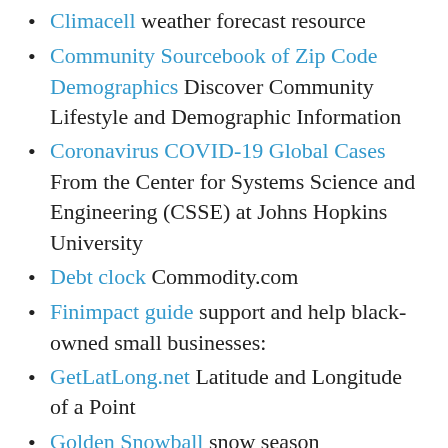Climacell weather forecast resource
Community Sourcebook of Zip Code Demographics Discover Community Lifestyle and Demographic Information
Coronavirus COVID-19 Global Cases From the Center for Systems Science and Engineering (CSSE) at Johns Hopkins University
Debt clock Commodity.com
Finimpact guide support and help black-owned small businesses:
GetLatLong.net Latitude and Longitude of a Point
Golden Snowball snow season competition in upstate NY
Leanne Brown cookbooks Good and Cheap is a free cookbook in English and...